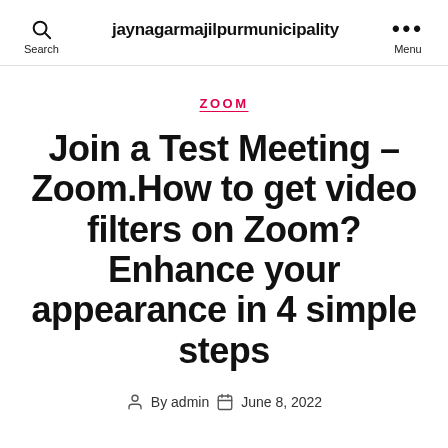jaynagarmajilpurmunicipality
ZOOM
Join a Test Meeting – Zoom.How to get video filters on Zoom? Enhance your appearance in 4 simple steps
By admin   June 8, 2022